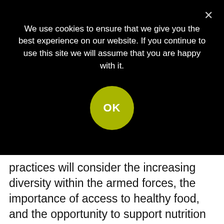We use cookies to ensure that we give you the best experience on our website. If you continue to use this site we will assume that you are happy with it.
practices will consider the increasing diversity within the armed forces, the importance of access to healthy food, and the opportunity to support nutrition education through informed leadership.'
Psychreg is mainly for information purposes only; materials on this website are not intended to be a substitute for professional advice. Don't disregard professional advice